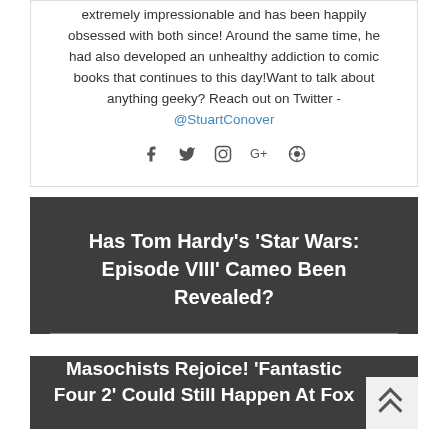extremely impressionable and has been happily obsessed with both since! Around the same time, he had also developed an unhealthy addiction to comic books that continues to this day!Want to talk about anything geeky? Reach out on Twitter - @StuartConover
[Figure (other): Social media icons: Facebook, Twitter, Instagram, Google+, Pinterest]
Has Tom Hardy's 'Star Wars: Episode VIII' Cameo Been Revealed?
Masochists Rejoice! 'Fantastic Four 2' Could Still Happen At Fox